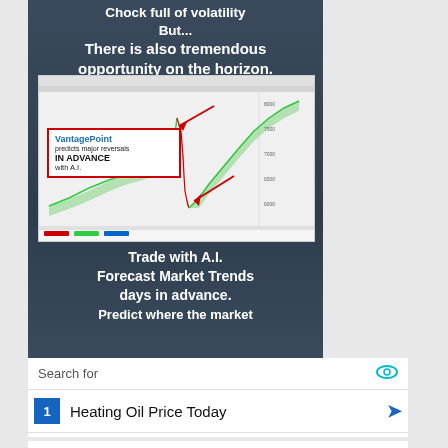[Figure (infographic): Financial advertisement banner with dark slate background showing a trading chart with VantagePoint AI text. Upper text reads 'Chock full of volatility But... There is also tremendous opportunity on the horizon.' Lower text reads 'Trade with A.I. Forecast Market Trends days in advance. Predict where the market']
Search for
1  Heating Oil Price Today
2  Housing Market Predictions